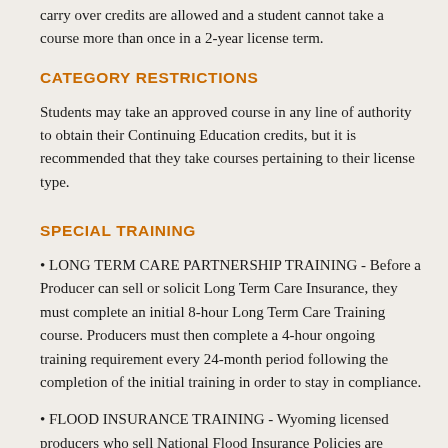carry over credits are allowed and a student cannot take a course more than once in a 2-year license term.
CATEGORY RESTRICTIONS
Students may take an approved course in any line of authority to obtain their Continuing Education credits, but it is recommended that they take courses pertaining to their license type.
SPECIAL TRAINING
• LONG TERM CARE PARTNERSHIP TRAINING - Before a Producer can sell or solicit Long Term Care Insurance, they must complete an initial 8-hour Long Term Care Training course. Producers must then complete a 4-hour ongoing training requirement every 24-month period following the completion of the initial training in order to stay in compliance.
• FLOOD INSURANCE TRAINING - Wyoming licensed producers who sell National Flood Insurance Policies are required to take a